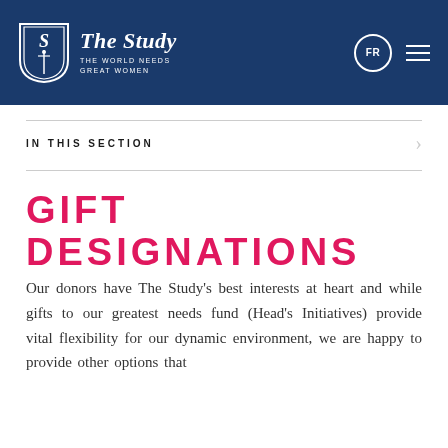The Study — THE WORLD NEEDS GREAT WOMEN
IN THIS SECTION
GIFT DESIGNATIONS
Our donors have The Study's best interests at heart and while gifts to our greatest needs fund (Head's Initiatives) provide vital flexibility for our dynamic environment, we are happy to provide other options that